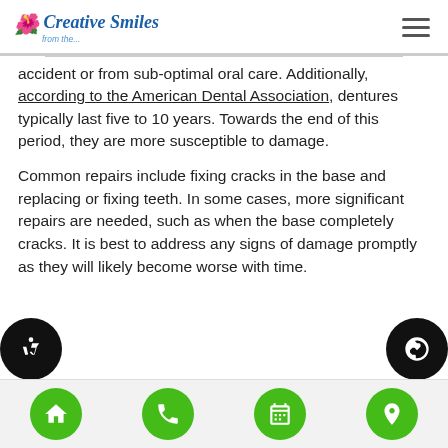Creative Smiles
accident or from sub-optimal oral care. Additionally, according to the American Dental Association, dentures typically last five to 10 years. Towards the end of this period, they are more susceptible to damage.
Common repairs include fixing cracks in the base and replacing or fixing teeth. In some cases, more significant repairs are needed, such as when the base completely cracks. It is best to address any signs of damage promptly as they will likely become worse with time.